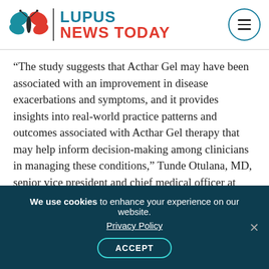[Figure (logo): Lupus News Today logo with butterfly/leaf icon in teal and red, brand name 'LUPUS NEWS TODAY' in teal and red, and a circular menu button]
“The study suggests that Acthar Gel may have been associated with an improvement in disease exacerbations and symptoms, and it provides insights into real-world practice patterns and outcomes associated with Acthar Gel therapy that may help inform decision-making among clinicians in managing these conditions,” Tunde Otulana, MD, senior vice president and chief medical officer at Mallinckrodt, said in a press release.
“The data can inform appropriate use of [Acthar Gel] as well as the clinical population where si…
We use cookies to enhance your experience on our website. Privacy Policy ACCEPT